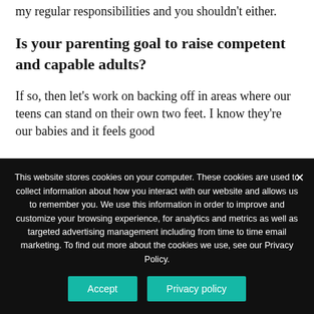my regular responsibilities and you shouldn't either.
Is your parenting goal to raise competent and capable adults?
If so, then let's work on backing off in areas where our teens can stand on their own two feet. I know they're our babies and it feels good
This website stores cookies on your computer. These cookies are used to collect information about how you interact with our website and allows us to remember you. We use this information in order to improve and customize your browsing experience, for analytics and metrics as well as targeted advertising management including from time to time email marketing. To find out more about the cookies we use, see our Privacy Policy.